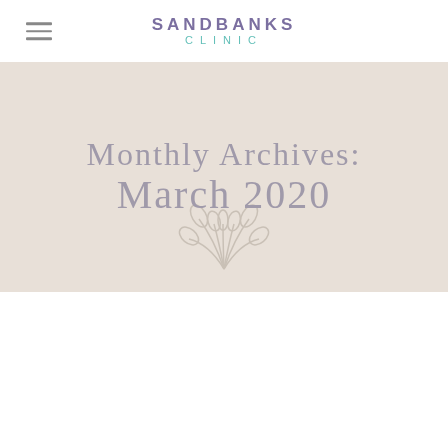SANDBANKS CLINIC
Monthly Archives: March 2020